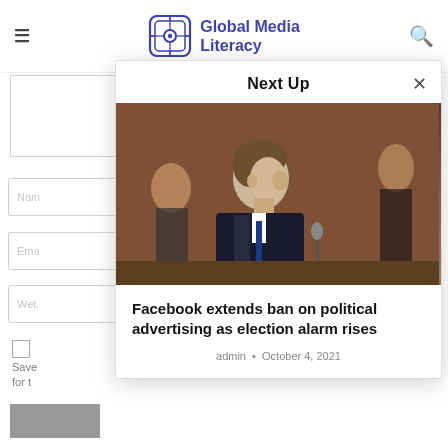Global Media Literacy
Next Up
[Figure (photo): Man in dark suit viewed in profile, seated at a table with a microphone, in a formal hearing room setting. Other people visible in the background.]
Facebook extends ban on political advertising as election alarm rises
admin · October 4, 2021